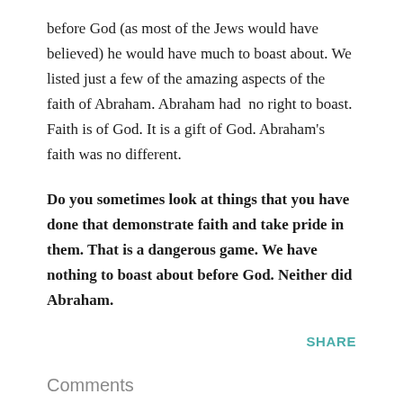before God (as most of the Jews would have believed) he would have much to boast about. We listed just a few of the amazing aspects of the faith of Abraham. Abraham had no right to boast. Faith is of God. It is a gift of God. Abraham's faith was no different.
Do you sometimes look at things that you have done that demonstrate faith and take pride in them. That is a dangerous game. We have nothing to boast about before God. Neither did Abraham.
SHARE
Comments